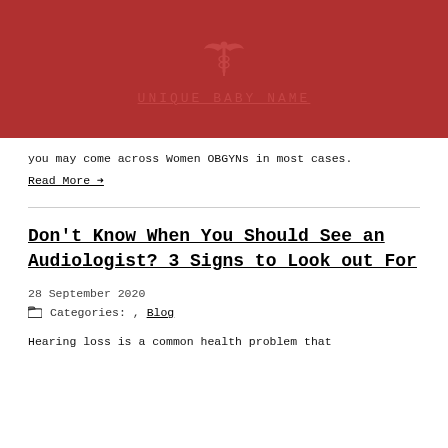UNIQUE BABY NAME
you may come across Women OBGYNs in most cases.
Read More →
Don't Know When You Should See an Audiologist? 3 Signs to Look out For
28 September 2020
Categories: , Blog
Hearing loss is a common health problem that